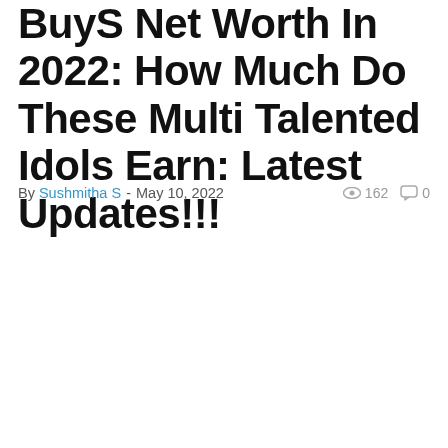BuyS Net Worth In 2022: How Much Do These Multi Talented Idols Earn: Latest Updates!!!
By Sushmitha S - May 10, 2022  162  0